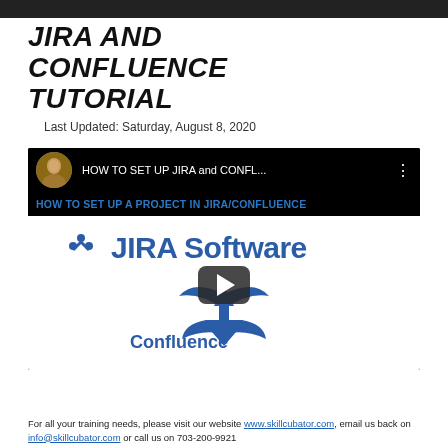JIRA AND CONFLUENCE TUTORIAL
Last Updated: Saturday, August 8, 2020
[Figure (screenshot): YouTube video thumbnail showing 'HOW TO SET UP JIRA and CONFL...' with a speaker avatar, subtitle 'HOW TO SET UP A PROJECT IN JIRA/CONFLUENCE', JIRA Software logo, a play button overlay, and Confluence logo below.]
For all your training needs, please visit our website www.skillcubator.com, email us back on info@skillcubator.com or call us on 703-200-9921